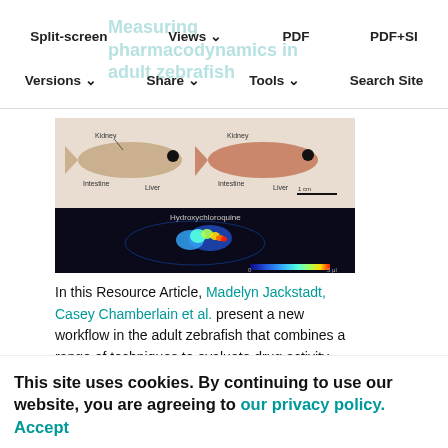Split-screen  Views  PDF  PDF+SI  Versions  Share  Tools  Search Site
Measuring pharmacodynamics in adult zebrafish
[Figure (photo): Two adult zebrafish shown from the side (top panel, light background), and a fluorescence/MALDI imaging of a zebrafish (bottom panel, dark background with heatmap colors) labeled 'Hydroxychloroquine']
In this Resource Article, Madelyn Jackstadt, Casey Chamberlain et al. present a new workflow in the adult zebrafish that combines a range of techniques to evaluate drug activity.
This site uses cookies. By continuing to use our website, you are agreeing to our privacy policy. Accept